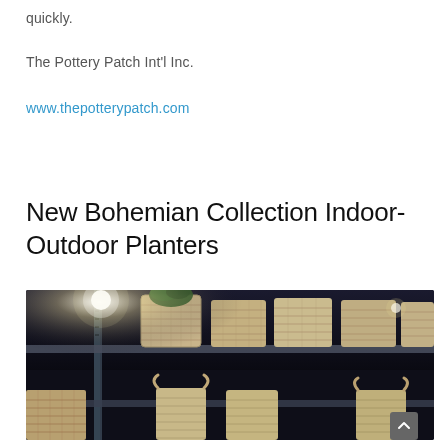quickly.
The Pottery Patch Int'l Inc.
www.thepotterypatch.com
New Bohemian Collection Indoor-Outdoor Planters
[Figure (photo): Warehouse shelving stacked with large wicker/rattan style planters and baskets. A bright overhead light shines in a dark warehouse environment. Metal rack shelving is visible holding numerous woven baskets and cylindrical planters in tan/beige tones.]